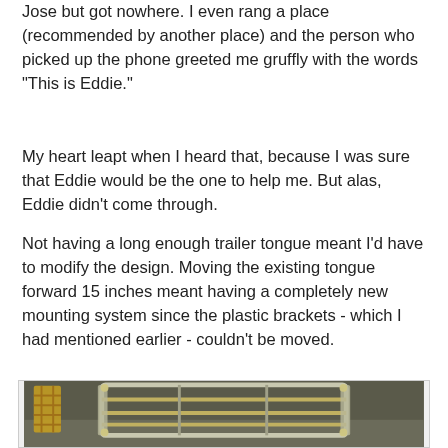Jose but got nowhere. I even rang a place (recommended by another place) and the person who picked up the phone greeted me gruffly with the words "This is Eddie."
My heart leapt when I heard that, because I was sure that Eddie would be the one to help me. But alas, Eddie didn't come through.
Not having a long enough trailer tongue meant I'd have to modify the design. Moving the existing tongue forward 15 inches meant having a completely new mounting system since the plastic brackets - which I had mentioned earlier - couldn't be moved.
[Figure (photo): A metal trailer tongue/rack assembly photographed in a garage or workshop setting. The metal frame appears to be a rectangular rack or carrier with horizontal bars, photographed from above at an angle. The structure is metallic/chrome colored against a dark floor background.]